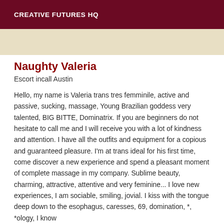CREATIVE FUTURES HQ
[Figure (photo): Beige/cream colored image strip at top of content area]
Naughty Valeria
Escort incall Austin
Hello, my name is Valeria trans tres femminile, active and passive, sucking, massage, Young Brazilian goddess very talented, BIG BITTE, Dominatrix. If you are beginners do not hesitate to call me and I will receive you with a lot of kindness and attention. I have all the outfits and equipment for a copious and guaranteed pleasure. I'm at trans ideal for his first time, come discover a new experience and spend a pleasant moment of complete massage in my company. Sublime beauty, charming, attractive, attentive and very feminine... I love new experiences, I am sociable, smiling, jovial. I kiss with the tongue deep down to the esophagus, caresses, 69, domination, *, *ology, I know